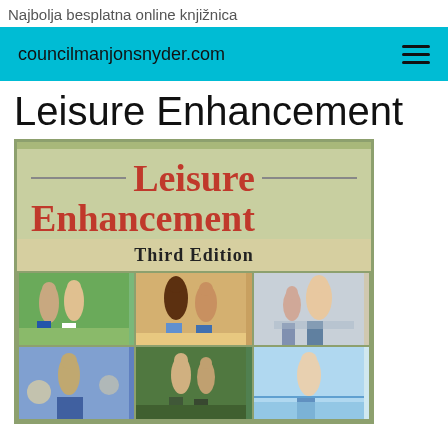Najbolja besplatna online knjižnica
councilmanjonsnyder.com
Leisure Enhancement
[Figure (photo): Book cover for 'Leisure Enhancement, Third Edition' showing the title in red bold serif font on a light green background, with a grid of six photographs depicting people engaged in leisure activities including jogging, beach activities, parent-child reading, and outdoor pursuits.]